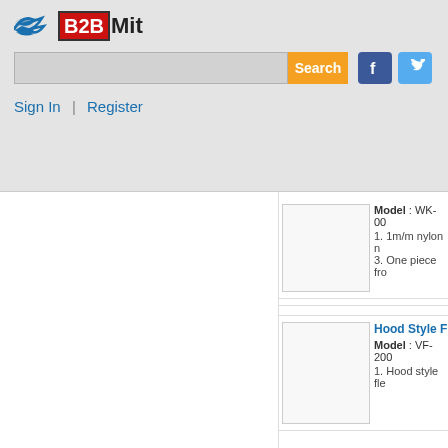B2BMit — Sign In | Register
[Figure (screenshot): B2BMit logo with bird icon, red B2B text, search bar, Search button, Facebook and Twitter icons]
Sign In  |  Register
[Figure (photo): Product image placeholder box for first product]
Model : WK-00
1. 1m/m nylon n
3. One piece fro
Hood Style F
Model : VF-200
1. Hood style fle
[Figure (photo): Product image placeholder box for Hood Style F product]
Contact us
| Company Name : |
| Contact Person : |
| Address : |